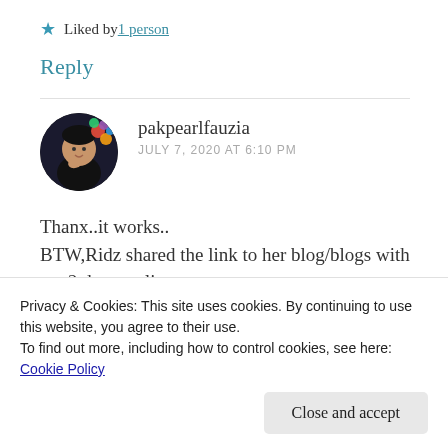★ Liked by 1 person
Reply
[Figure (photo): Circular avatar photo of a young child with colorful balloons in the background]
pakpearlfauzia
JULY 7, 2020 AT 6:10 PM
Thanx..it works..
BTW,Ridz shared the link to her blog/blogs with me 2 days earlier ...
Privacy & Cookies: This site uses cookies. By continuing to use this website, you agree to their use.
To find out more, including how to control cookies, see here: Cookie Policy
Close and accept